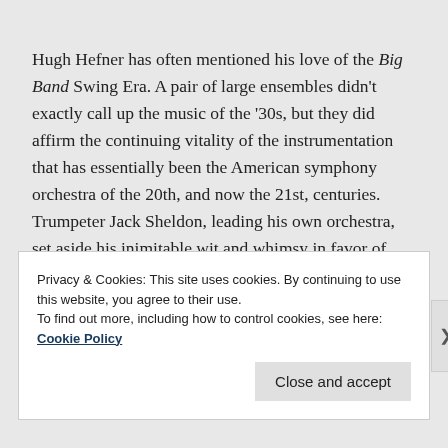Hugh Hefner has often mentioned his love of the Big Band Swing Era. A pair of large ensembles didn't exactly call up the music of the '30s, but they did affirm the continuing vitality of the instrumentation that has essentially been the American symphony orchestra of the 20th, and now the 21st, centuries. Trumpeter Jack Sheldon, leading his own orchestra, set aside his inimitable wit and whimsy in favor of some impressive vocalizing on standards such as “Here’s That Rainy Day,” backed by a group of L.A.’s finest players. Although no credits were announced on the charts, most of the writing – a saxophone section soli in “Caravan was a
Privacy & Cookies: This site uses cookies. By continuing to use this website, you agree to their use.
To find out more, including how to control cookies, see here: Cookie Policy
Close and accept